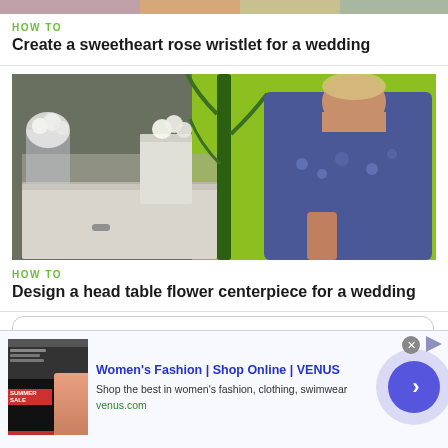[Figure (photo): Top cropped image strip of wedding/craft tutorial thumbnails]
HOW TO
Create a sweetheart rose wristlet for a wedding
[Figure (photo): Man in blue floral shirt arranging tall green plant and white flowers on dresser against lime green background — flower centerpiece tutorial video thumbnail]
HOW TO
Design a head table flower centerpiece for a wedding
[Figure (screenshot): Advertisement banner for VENUS women's fashion website showing 'Women's Fashion | Shop Online | VENUS' with sale thumbnail image and navigation arrow button]